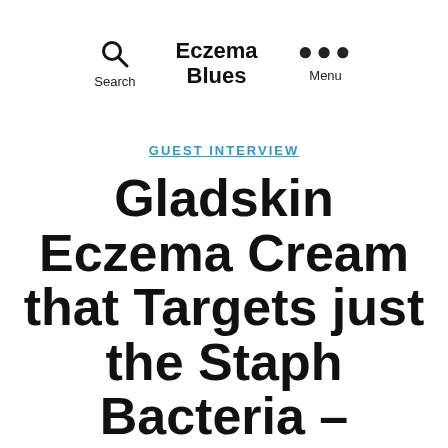Search  Eczema Blues  Menu
GUEST INTERVIEW
Gladskin Eczema Cream that Targets just the Staph Bacteria –